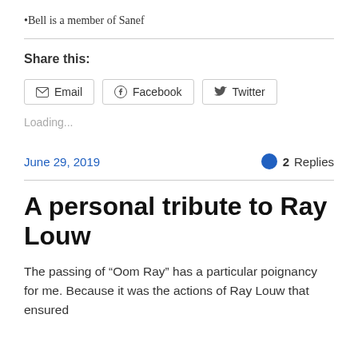•Bell is a member of Sanef
Share this:
[Figure (screenshot): Share buttons: Email, Facebook, Twitter]
Loading...
June 29, 2019   2 Replies
A personal tribute to Ray Louw
The passing of “Oom Ray” has a particular poignancy for me. Because it was the actions of Ray Louw that ensured